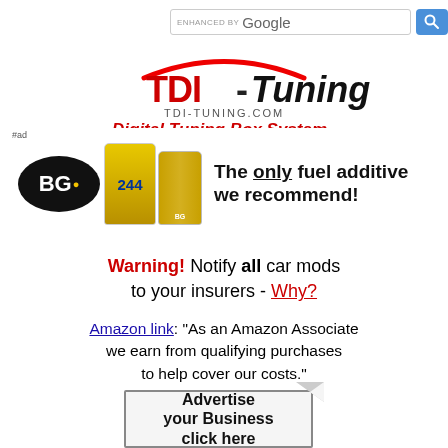[Figure (screenshot): Search bar with 'ENHANCED BY Google' text and blue search button]
[Figure (logo): TDI-Tuning logo with red car silhouette and 'Digital Tuning Box System' tagline in red italic]
[Figure (illustration): #ad BG 244 fuel additive product advertisement with text 'The only fuel additive we recommend!']
Warning! Notify all car mods to your insurers - Why?
Amazon link: "As an Amazon Associate we earn from qualifying purchases to help cover our costs."
[Figure (illustration): Advertise your Business click here - styled button with folded corner]